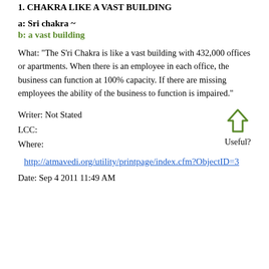1. CHAKRA LIKE A VAST BUILDING
a: Sri chakra ~
b: a vast building
What: "The S'ri Chakra is like a vast building with 432,000 offices or apartments. When there is an employee in each office, the business can function at 100% capacity. If there are missing employees the ability of the business to function is impaired."
Writer: Not Stated
LCC:
Where:
Useful?
http://atmavedi.org/utility/printpage/index.cfm?ObjectID=3
Date: Sep 4 2011 11:49 AM